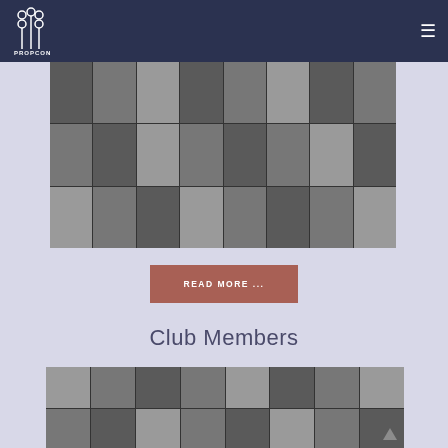PROPCON
[Figure (photo): Grid of golf tournament event photos in grayscale, arranged in 3 rows of 8 columns]
READ MORE ...
Club Members
[Figure (photo): Grid of club member portrait photos in grayscale, arranged in 2 rows of 8 columns]